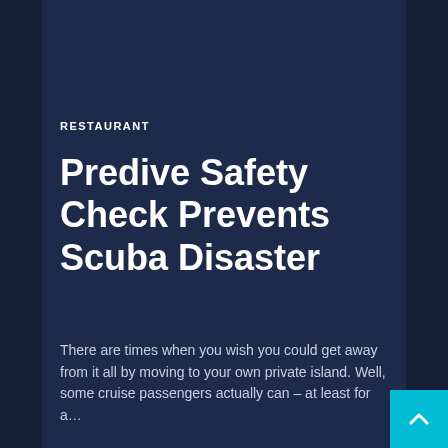RESTAURANT
Predive Safety Check Prevents Scuba Disaster
There are times when you wish you could get away from it all by moving to your own private island. Well, some cruise passengers actually can – at least for a...
Read more...